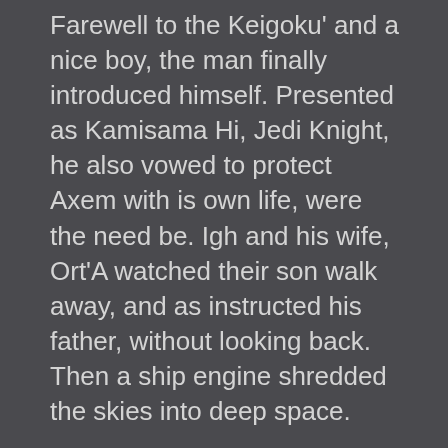Farewell to the Keigoku' and a nice boy, the man finally introduced himself. Presented as Kamisama Hi, Jedi Knight, he also vowed to protect Axem with is own life, were the need be. Igh and his wife, Ort'A watched their son walk away, and as instructed his father, without looking back. Then a ship engine shredded the skies into deep space.
The next days were pains to Axem. Being separated from his parents, at somewhat a high state to beginning Jedi training, Kamisama did all he was able to calm the youngster, as far as his training would allow him, he could give the young Jedi hopeful the rest he needed before he would be sent before the Council.
As he arrived on the planet, many people bowed down the mysterious man that took him away from his family. They bowed, but in respect, not in fear, as he was used